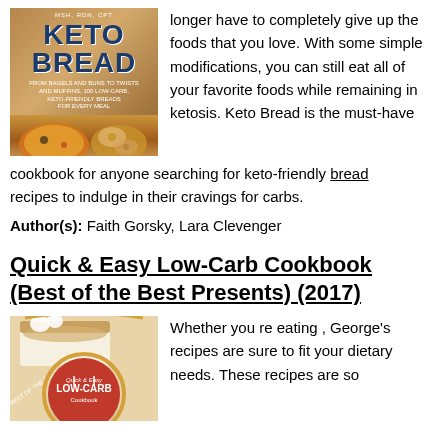[Figure (photo): Book cover of Keto Bread by Lara Clevenger, showing pizza and bagels on a colorful background]
longer have to completely give up the foods that you love. With some simple modifications, you can still eat all of your favorite foods while remaining in ketosis. Keto Bread is the must-have cookbook for anyone searching for keto-friendly bread recipes to indulge in their cravings for carbs.
Author(s): Faith Gorsky, Lara Clevenger
Quick & Easy Low-Carb Cookbook (Best of the Best Presents) (2017)
[Figure (photo): Book cover of Quick & Easy Low-Carb Cookbook, Best of the Best Presents edition, showing cheesecake and a red circular badge]
Whether you re eating , George's recipes are sure to fit your dietary needs. These recipes are so